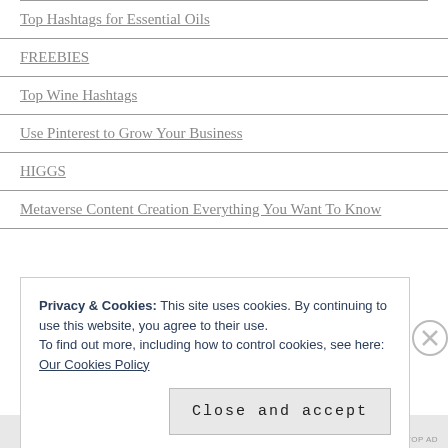Top Hashtags for Essential Oils
FREEBIES
Top Wine Hashtags
Use Pinterest to Grow Your Business
HIGGS
Metaverse Content Creation Everything You Want To Know
Privacy & Cookies: This site uses cookies. By continuing to use this website, you agree to their use.
To find out more, including how to control cookies, see here: Our Cookies Policy
Close and accept